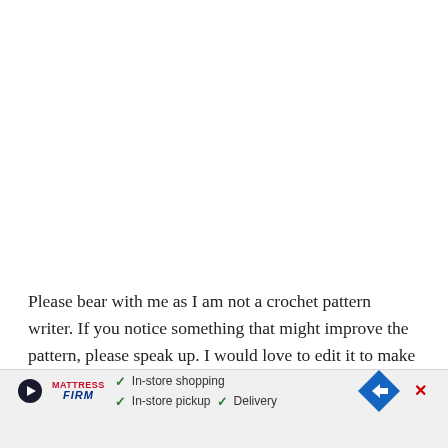Please bear with me as I am not a crochet pattern writer. If you notice something that might improve the pattern, please speak up. I would love to edit it to make it better for my readers. I also took notes and lost them when I re-organized the house to make room for the baby {sigh}, so I'm re[…]anket.
[Figure (other): Advertisement banner for Mattress Firm showing play button, logo, checkmarks for In-store shopping, In-store pickup, and Delivery, and a blue diamond navigation arrow icon.]